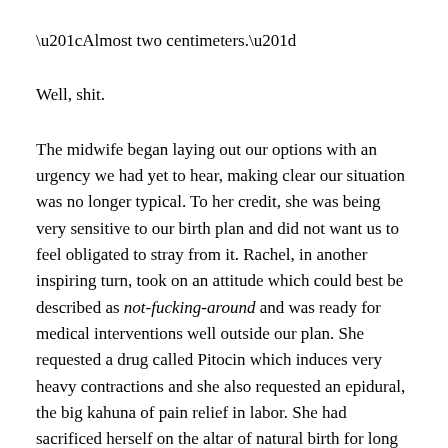“Almost two centimeters.”
Well, shit.
The midwife began laying out our options with an urgency we had yet to hear, making clear our situation was no longer typical. To her credit, she was being very sensitive to our birth plan and did not want us to feel obligated to stray from it. Rachel, in another inspiring turn, took on an attitude which could best be described as not-fucking-around and was ready for medical interventions well outside our plan. She requested a drug called Pitocin which induces very heavy contractions and she also requested an epidural, the big kahuna of pain relief in labor. She had sacrificed herself on the altar of natural birth for long enough and no longer wanted to be in so much pain.